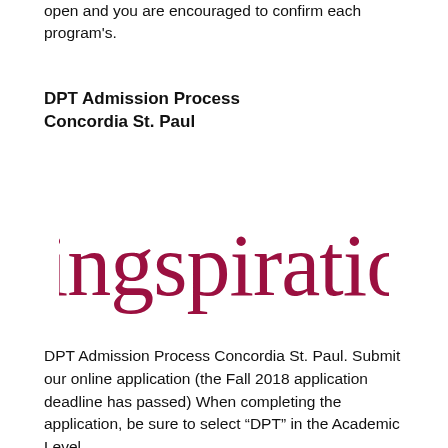open and you are encouraged to confirm each program's.
DPT Admission Process Concordia St. Paul
[Figure (logo): Singspiration logo in dark red cursive script]
DPT Admission Process Concordia St. Paul. Submit our online application (the Fall 2018 application deadline has passed) When completing the application, be sure to select âDPTâ€ in the Academic Level